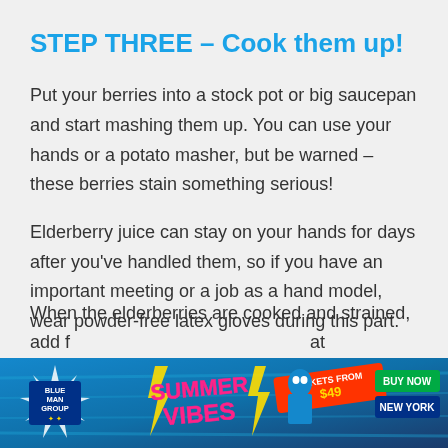STEP THREE – Cook them up!
Put your berries into a stock pot or big saucepan and start mashing them up. You can use your hands or a potato masher, but be warned – these berries stain something serious!
Elderberry juice can stay on your hands for days after you've handled them, so if you have an important meeting or a job as a hand model, wear powder-free latex gloves during this part.
When the elderberries are cooked and strained, add f... at
[Figure (advertisement): Blue Man Group Summer Vibes advertisement banner. Text: BLUE MAN GROUP, SUMMER VIBES, TICKETS FROM $49, BUY NOW, NEW YORK]